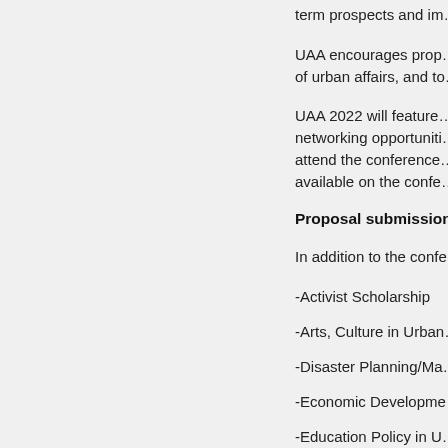term prospects and im…
UAA encourages prop… of urban affairs, and to…
UAA 2022 will feature… networking opportuniti… attend the conference… available on the confe…
Proposal submission
In addition to the confe…
-Activist Scholarship
-Arts, Culture in Urban…
-Disaster Planning/Ma…
-Economic Developme…
-Education Policy in U…
-Environmental Issues…
-Gender, Identity, Dive…
-Globalization, Multi-na…